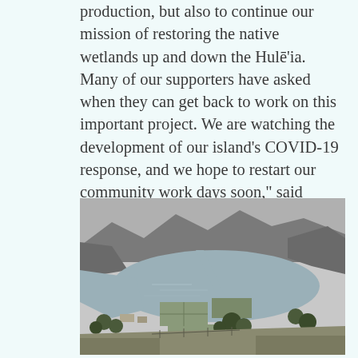production, but also to continue our mission of restoring the native wetlands up and down the Hulē'ia. Many of our supporters have asked when they can get back to work on this important project. We are watching the development of our island's COVID-19 response, and we hope to restart our community work days soon," said Bowen.
[Figure (photo): Black and white aerial photograph of the Hulē'ia river area, showing a river estuary with wetlands, taro fields, and surrounding hills and mountains.]